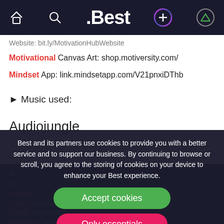.Best navigation bar with home, search, .Best logo, plus and profile icons
Website: bit.ly/MotivationHubWebsite
Motivational Canvas Art: shop.motiversity.com/
Mindset App: link.mindsetapp.com/V21pnxiDThb
► Music used:
Audiojungle
Best and its partners use cookies to provide you with a better service and to support our business. By continuing to browse or scroll, you agree to the storing of cookies on your device to enhance your Best experience.
Accept cookies
Only essentials
Learn more about our privacy policy.